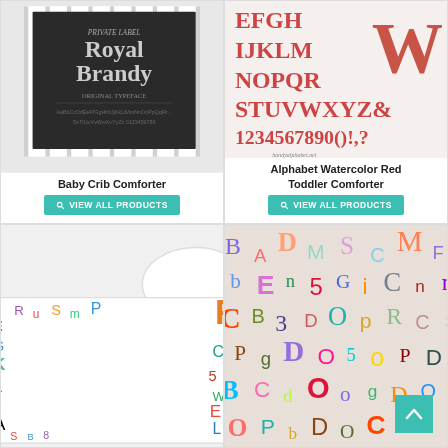[Figure (photo): Baby crib comforter with Royal Brandy typography design on dark background]
Baby Crib Comforter
VIEW ALL PRODUCTS
[Figure (photo): Alphabet Watercolor Red Toddler Comforter showing colorful alphabet letters and numbers]
Alphabet Watercolor Red Toddler Comforter
VIEW ALL PRODUCTS
[Figure (photo): Colorful alphabet letters comforter set on bed]
[Figure (photo): Colorful collage of cut-out letters and numbers from magazines]